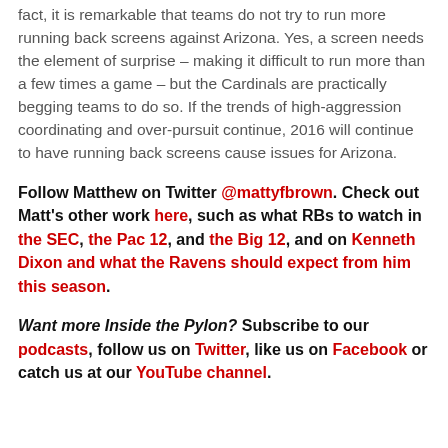fact, it is remarkable that teams do not try to run more running back screens against Arizona. Yes, a screen needs the element of surprise – making it difficult to run more than a few times a game – but the Cardinals are practically begging teams to do so. If the trends of high-aggression coordinating and over-pursuit continue, 2016 will continue to have running back screens cause issues for Arizona.
Follow Matthew on Twitter @mattyfbrown. Check out Matt's other work here, such as what RBs to watch in the SEC, the Pac 12, and the Big 12, and on Kenneth Dixon and what the Ravens should expect from him this season.
Want more Inside the Pylon? Subscribe to our podcasts, follow us on Twitter, like us on Facebook or catch us at our YouTube channel.